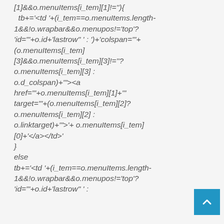[1]&&o.menuItems[i_tem][1]!=''){
tb+='<td '+(i_tem==o.menuItems.length-1&&!o.wrapbar&&o.menupos!='top'? 'id="'+o.id+'lastrow" ' : ')+'colspan="'+(o.menuItems[i_tem][3]&&o.menuItems[i_tem][3]!=''? o.menuItems[i_tem][3] : o.d_colspan)+'"'><a href="'+o.menuItems[i_tem][1]+'" target="'+(o.menuItems[i_tem][2]? o.menuItems[i_tem][2] : o.linktarget)+'">'+ o.menuItems[i_tem][0]+'</a></td>'
}
else
tb+='<td '+(i_tem==o.menuItems.length-1&&!o.wrapbar&&o.menupos!='top'? 'id="'+o.id+'lastrow" :